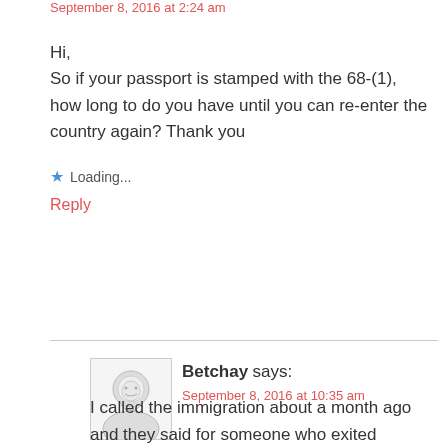September 8, 2016 at 2:24 am
Hi,
So if your passport is stamped with the 68-(1), how long to do you have until you can re-enter the country again? Thank you
★ Loading...
Reply
Betchay says:
September 8, 2016 at 10:35 am
I called the immigration about a month ago and they said for someone who exited voluntarily during this